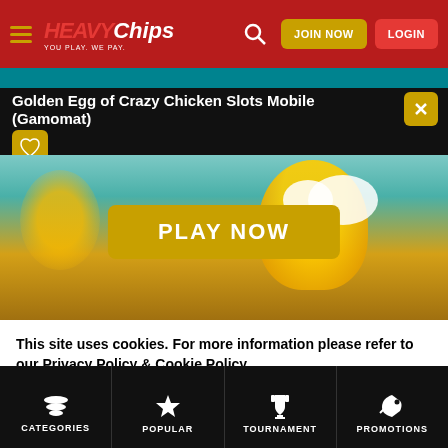HEAVYChips - YOU PLAY. WE PAY. | JOIN NOW | LOGIN
Golden Egg of Crazy Chicken Slots Mobile (Gamomat)
[Figure (screenshot): Game preview image showing a cartoon crazy chicken game with a PLAY NOW button overlay. Blurred background shows cartoon chicken characters on a colorful background.]
This site uses cookies. For more information please refer to our Privacy Policy & Cookie Policy
CATEGORIES | POPULAR | TOURNAMENT | PROMOTIONS